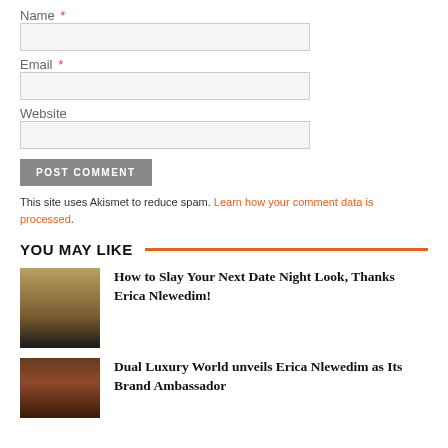Name *
Email *
Website
POST COMMENT
This site uses Akismet to reduce spam. Learn how your comment data is processed.
YOU MAY LIKE
How to Slay Your Next Date Night Look, Thanks Erica Nlewedim!
[Figure (photo): Woman in black dress in ornate interior]
Dual Luxury World unveils Erica Nlewedim as Its Brand Ambassador
[Figure (photo): Woman with brown background portrait]